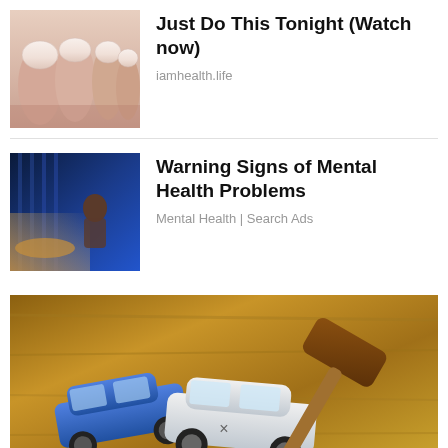[Figure (photo): Close-up photo of toenails with white/cream colored nail polish on a foot]
Just Do This Tonight (Watch now)
iamhealth.life
[Figure (photo): Person sitting on bed in blue/orange light, another person lying down]
Warning Signs of Mental Health Problems
Mental Health | Search Ads
[Figure (photo): Two toy cars (blue and white) in a collision scene with a wooden gavel on a wooden surface - legal/insurance concept]
×